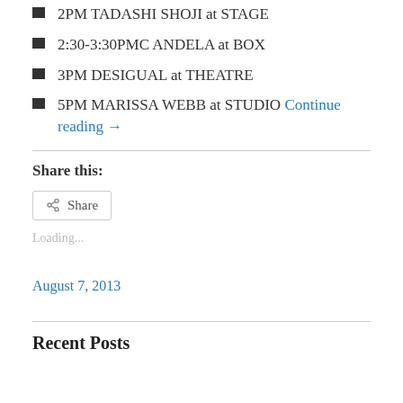2PM TADASHI SHOJI at STAGE
2:30-3:30PMC ANDELA at BOX
3PM DESIGUAL at THEATRE
5PM MARISSA WEBB at STUDIO Continue reading →
Share this:
Share
Loading...
August 7, 2013
Recent Posts